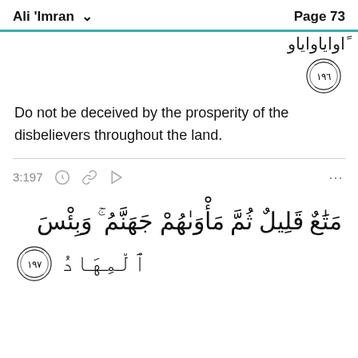Ali 'Imran   Page 73
Do not be deceived by the prosperity of the disbelievers throughout the land.
3:197
مَتَٰعٌ قَلِيلٌ ثُمَّ مَأْوَىٰهُمْ جَهَنَّمُ ۚ وَبِئْسَ ٱلْمِهَادُ ۝١٩٧